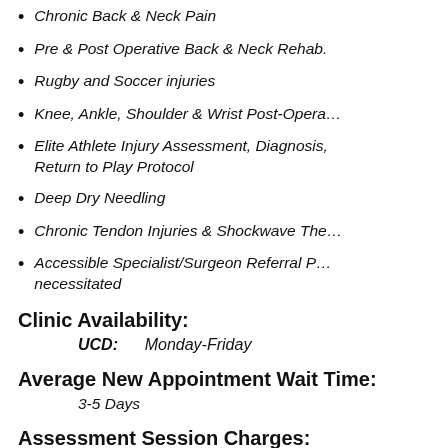Chronic Back & Neck Pain
Pre & Post Operative Back & Neck Rehab.
Rugby and Soccer injuries
Knee, Ankle, Shoulder & Wrist Post-Opera…
Elite Athlete Injury Assessment, Diagnosis, Return to Play Protocol
Deep Dry Needling
Chronic Tendon Injuries & Shockwave The…
Accessible Specialist/Surgeon Referral P… necessitated
Clinic Availability:
UCD:        Monday-Friday
Average New Appointment Wait Time:
3-5 Days
Assessment Session Charges: